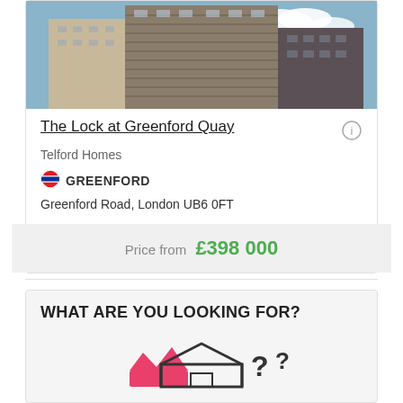[Figure (photo): Exterior photo of residential apartment buildings at The Lock at Greenford Quay, showing high-rise and mid-rise buildings against a partly cloudy sky]
The Lock at Greenford Quay
Telford Homes
GREENFORD
Greenford Road, London UB6 0FT
Price from £398 000
WHAT ARE YOU LOOKING FOR?
[Figure (illustration): Illustration of a house outline with a pink crown icon and question marks]